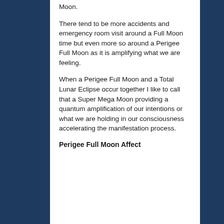Moon.
There tend to be more accidents and emergency room visit around a Full Moon time but even more so around a Perigee Full Moon as it is amplifying what we are feeling.
When a Perigee Full Moon and a Total Lunar Eclipse occur together I like to call that a Super Mega Moon providing a quantum amplification of our intentions or what we are holding in our consciousness accelerating the manifestation process.
Perigee Full Moon Affect